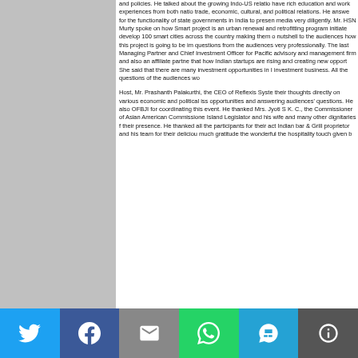and policies. He talked about the growing Indo-US relations have rich education and work experiences from both nations trade, economic, cultural, and political relations. He answered for the functionality of state governments in India to present media very diligently. Mr. HSN Murty spoke on how Smart project is an urban renewal and retrofitting program initiated develop 100 smart cities across the country making them o nutshell to the audiences how this project is going to be implemented. questions from the audiences very professionally. The last Managing Partner and Chief Investment Officer for Pacific advisory and management firm and also an affiliate partner that how Indian startups are rising and creating new opportunities. She said that there are many investment opportunities in India investment business. All the questions of the audiences were answered.
Host, Mr. Prashanth Palakurthi, the CEO of Reflexis Systems their thoughts directly on various economic and political issues opportunities and answering audiences' questions. He also OFBJI for coordinating this event. He thanked Mrs. Jyoti S K. C., the Commissioner of Asian American Commissioner Island Legislator and his wife and many other dignitaries for their presence. He thanked all the participants for their active Indian bar & Grill proprietor and his team for their delicious much gratitude the wonderful the hospitality touch given by
[Figure (infographic): Social media share bar with icons: Twitter (blue), Facebook (dark blue), Email (gray), WhatsApp (green), SMS (light blue), More (dark gray)]